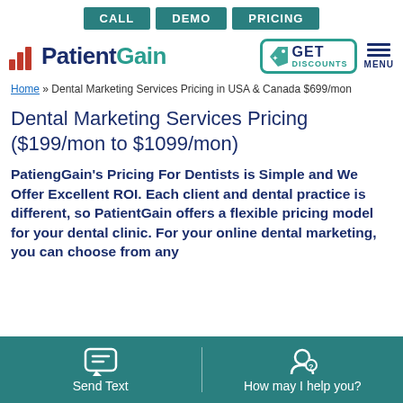CALL  DEMO  PRICING
[Figure (logo): PatientGain logo with bar chart icon, GET DISCOUNTS badge, and MENU button]
Home » Dental Marketing Services Pricing in USA & Canada $699/mon
Dental Marketing Services Pricing ($199/mon to $1099/mon)
PatiengGain's Pricing For Dentists is Simple and We Offer Excellent ROI. Each client and dental practice is different, so PatientGain offers a flexible pricing model for your dental clinic. For your online dental marketing, you can choose from any
Send Text | How may I help you?